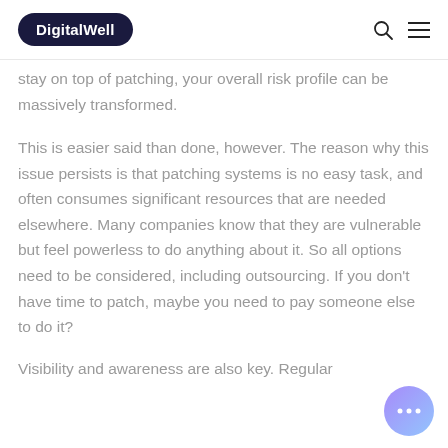DigitalWell
stay on top of patching, your overall risk profile can be massively transformed.
This is easier said than done, however. The reason why this issue persists is that patching systems is no easy task, and often consumes significant resources that are needed elsewhere. Many companies know that they are vulnerable but feel powerless to do anything about it. So all options need to be considered, including outsourcing. If you don’t have time to patch, maybe you need to pay someone else to do it?
Visibility and awareness are also key. Regular